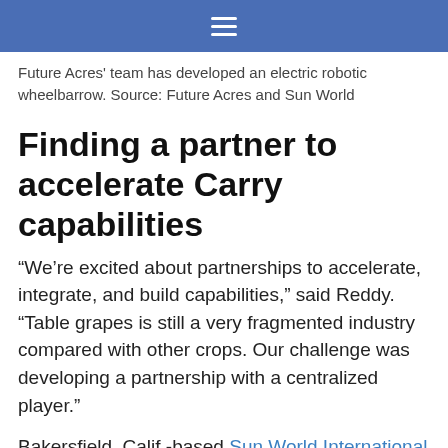navigation bar with hamburger menu
Future Acres' team has developed an electric robotic wheelbarrow. Source: Future Acres and Sun World
Finding a partner to accelerate Carry capabilities
“We're excited about partnerships to accelerate, integrate, and build capabilities,” said Reddy. “Table grapes is still a very fragmented industry compared with other crops. Our challenge was developing a partnership with a centralized player.”
Bakersfield, Calif.-based Sun World International is a global plant variety breeder and licensor of proprietary produce.